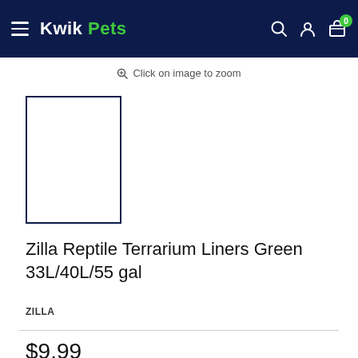Kwik Pets
Click on image to zoom
[Figure (photo): Product thumbnail placeholder — white rectangle with dark navy border]
Zilla Reptile Terrarium Liners Green 33L/40L/55 gal
ZILLA
$9.99